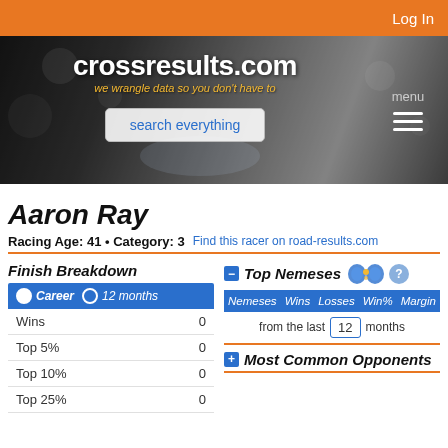Log In
[Figure (screenshot): crossresults.com website banner with tagline 'we wrangle data so you don't have to' and search box]
Aaron Ray
Racing Age: 41 • Category: 3   Find this racer on road-results.com
Finish Breakdown
● Career  ○ 12 months
|  |  |
| --- | --- |
| Wins | 0 |
| Top 5% | 0 |
| Top 10% | 0 |
| Top 25% | 0 |
Top Nemeses
| Nemeses | Wins | Losses | Win% | Margin |
| --- | --- | --- | --- | --- |
from the last 12 months
Most Common Opponents